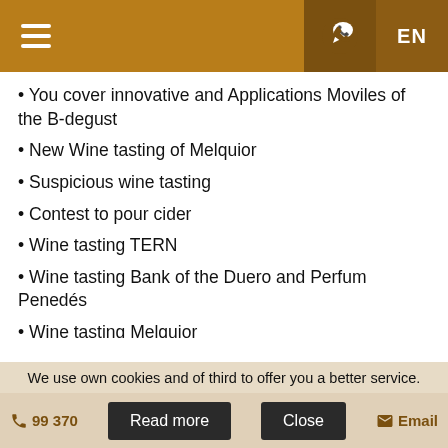Menu | Phone | EN
You cover innovative and Applications Moviles of the B-degust
New Wine tasting of Melquior
Suspicious wine tasting
Contest to pour cider
Wine tasting TERN
Wine tasting Bank of the Duero and Perfum Penedés
Wine tasting Melquior
Exposure and Sale of pictures to the Oil by Amaro Grandson
Exposure of Carolina Lonnberg and Manuel Sánchez
Gastronomic days
We use own cookies and of third to offer you a better service.
Read more | Close | Email